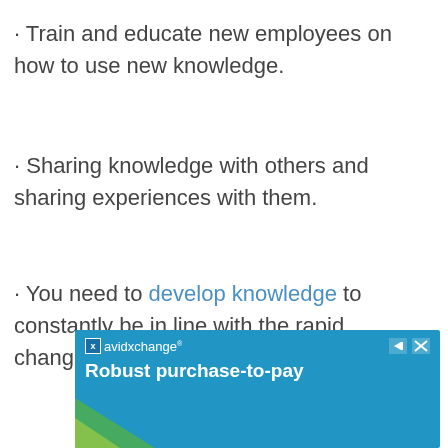· Train and educate new employees on how to use new knowledge.
· Sharing knowledge with others and sharing experiences with them.
· You need to develop knowledge to constantly be in line with the rapid changes in the work environment.
[Figure (other): AvidXchange advertisement banner with blue background showing logo and text 'Robust purchase-to-pay']